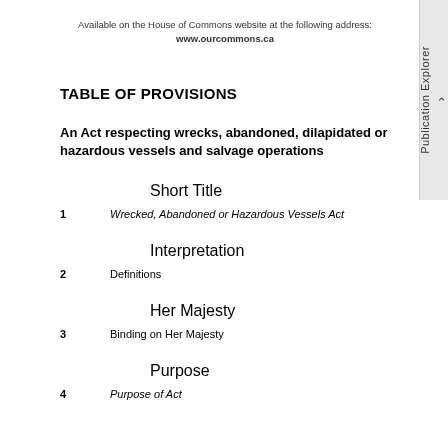Available on the House of Commons website at the following address:
www.ourcommons.ca
TABLE OF PROVISIONS
An Act respecting wrecks, abandoned, dilapidated or hazardous vessels and salvage operations
Short Title
1	Wrecked, Abandoned or Hazardous Vessels Act
Interpretation
2	Definitions
Her Majesty
3	Binding on Her Majesty
Purpose
4	Purpose of Act